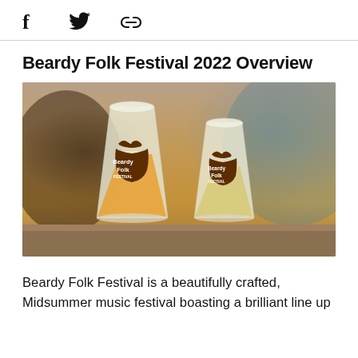f  [twitter]  [link]
Beardy Folk Festival 2022 Overview
[Figure (photo): Two frosted plastic cups with the Beardy Folk Festival logo — a brown beard shape with mustache and the text 'Beardy Folk FESTIVAL' in white — filled with golden/yellow beer-like beverage, sitting on a wooden surface with a blurred background.]
Beardy Folk Festival is a beautifully crafted, Midsummer music festival boasting a brilliant line up